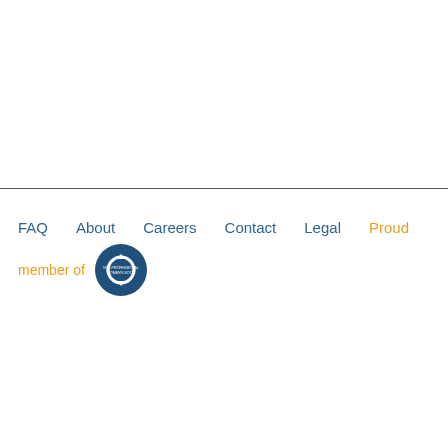FAQ   About   Careers   Contact   Legal   Proud member of [NRS Professional Women's Society badge]